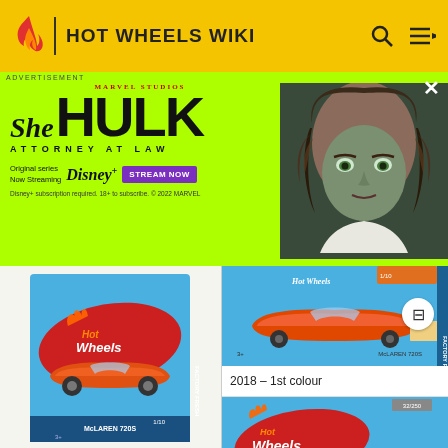HOT WHEELS WIKI
[Figure (screenshot): Advertisement banner for She-Hulk: Attorney at Law on Disney+. Green background with Marvel Studios logo, She-Hulk title text, and a photo of the actress. STREAM NOW button.]
[Figure (photo): Hot Wheels McLaren 720S diecast car in package, blue Factory Fresh card, orange car, 1/10]
[Figure (photo): Hot Wheels McLaren 720S diecast car in package, 2018 1st colour, orange car on blue card]
2018 – 1st colour
[Figure (photo): Hot Wheels logo on blue card, bottom strip, 32/250]